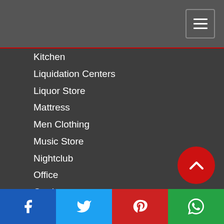Kitchen
Liquidation Centers
Liquor Store
Mattress
Men Clothing
Music Store
Nightclub
Office
Outdoor
Personal Care
Pet Stores
Pharmacy
Photography And Accessories
Pools And SPAS
Renovation Centers
Restaurants
School Uniform